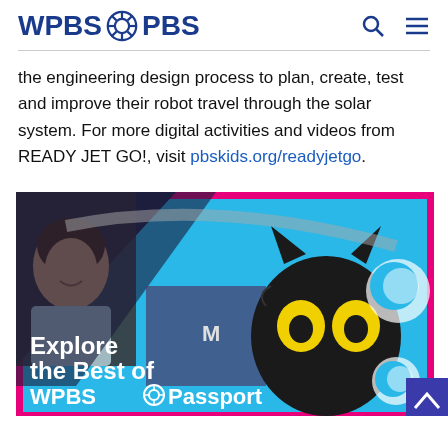WPBS PBS
the engineering design process to plan, create, test and improve their robot travel through the solar system. For more digital activities and videos from READY JET GO!, visit pbskids.org/readyjetgo.
[Figure (illustration): Promotional banner for WPBS Passport featuring a cartoon black cat with yellow eyes on a cyan background with pink border, overlaid with a photo of Bob Ross and a crowd scene. Text reads: Explore the Best of WPBS Passport]